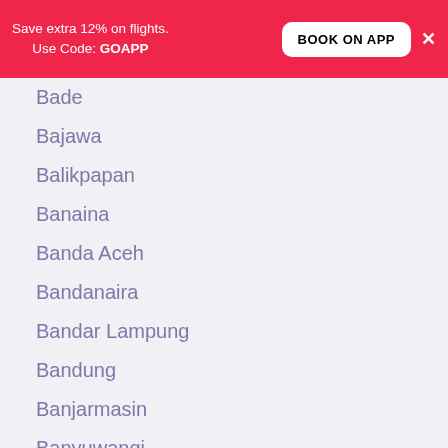Save extra 12% on flights. Use Code: GOAPP
Bade
Bajawa
Balikpapan
Banaina
Banda Aceh
Bandanaira
Bandar Lampung
Bandung
Banjarmasin
Banyuwangi
Batam
Batom
Batulicin
Baubau